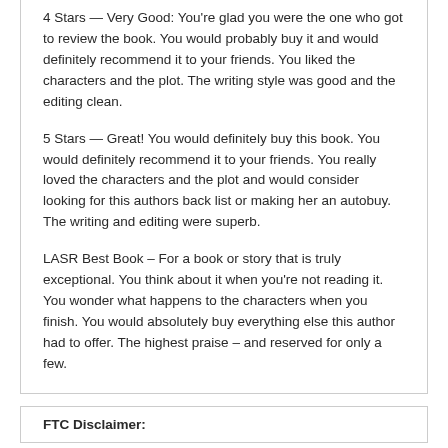4 Stars — Very Good: You're glad you were the one who got to review the book. You would probably buy it and would definitely recommend it to your friends. You liked the characters and the plot. The writing style was good and the editing clean.
5 Stars — Great! You would definitely buy this book. You would definitely recommend it to your friends. You really loved the characters and the plot and would consider looking for this authors back list or making her an autobuy. The writing and editing were superb.
LASR Best Book – For a book or story that is truly exceptional. You think about it when you're not reading it. You wonder what happens to the characters when you finish. You would absolutely buy everything else this author had to offer. The highest praise – and reserved for only a few.
FTC Disclaimer: